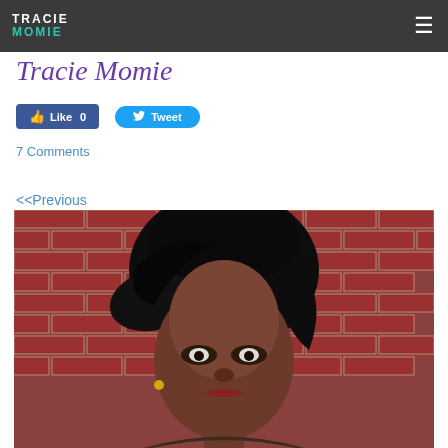Tracie Momie
Tracie Momie
Like 0   Tweet
7 Comments
<<Previous
[Figure (photo): Close-up portrait of a woman with a short black hairstyle in front of a brick wall]